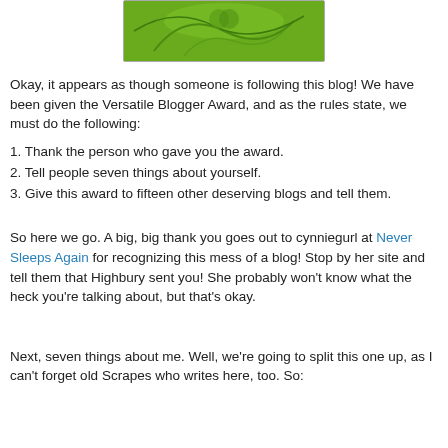[Figure (illustration): Green decorative image with swirling patterns at the top of the page]
Okay, it appears as though someone is following this blog! We have been given the Versatile Blogger Award, and as the rules state, we must do the following:
1. Thank the person who gave you the award.
2. Tell people seven things about yourself.
3. Give this award to fifteen other deserving blogs and tell them.
So here we go. A big, big thank you goes out to cynniegurl at Never Sleeps Again for recognizing this mess of a blog! Stop by her site and tell them that Highbury sent you! She probably won't know what the heck you're talking about, but that's okay.
Next, seven things about me. Well, we're going to split this one up, as I can't forget old Scrapes who writes here, too. So: